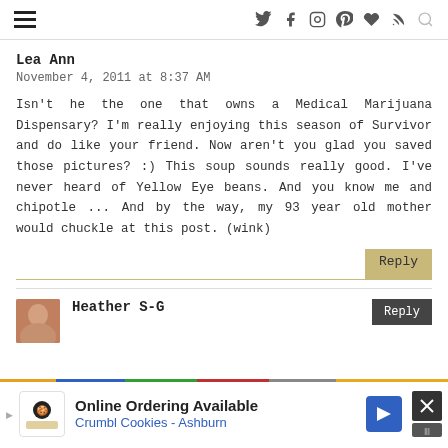navigation header with hamburger menu and social icons
Lea Ann
November 4, 2011 at 8:37 AM
Isn't he the one that owns a Medical Marijuana Dispensary? I'm really enjoying this season of Survivor and do like your friend. Now aren't you glad you saved those pictures? :) This soup sounds really good. I've never heard of Yellow Eye beans. And you know me and chipotle ... And by the way, my 93 year old mother would chuckle at this post. (wink)
Heather S-G
[Figure (infographic): Advertisement banner: Online Ordering Available - Crumbl Cookies - Ashburn with navigation arrow and close button]